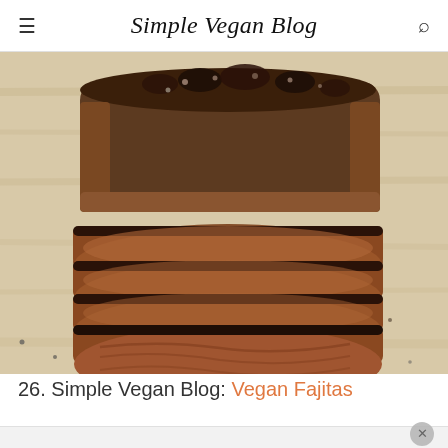Simple Vegan Blog
[Figure (photo): Sliced vegan brisket on a wooden cutting board, with a dark seasoned crust on top and several thick slices fanned out in front, showing a brownish-pink interior texture.]
26. Simple Vegan Blog: Vegan Fajitas